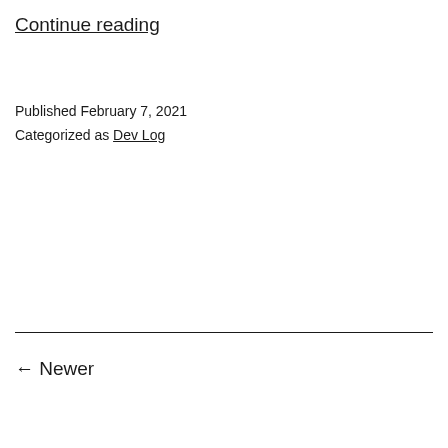Continue reading
Published February 7, 2021
Categorized as Dev Log
← Newer